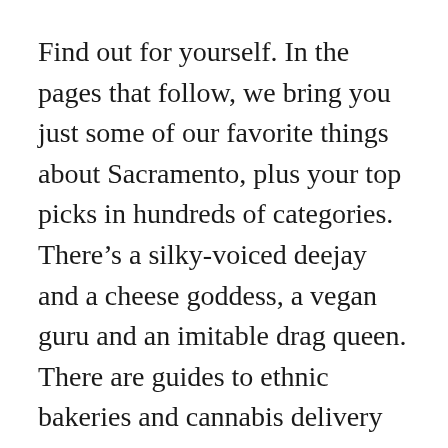Find out for yourself. In the pages that follow, we bring you just some of our favorite things about Sacramento, plus your top picks in hundreds of categories. There’s a silky-voiced deejay and a cheese goddess, a vegan guru and an imitable drag queen. There are guides to ethnic bakeries and cannabis delivery services, team spirit shoutouts and an homage to local sports heroes of yesteryear.
And that’s just for starters. Read on to